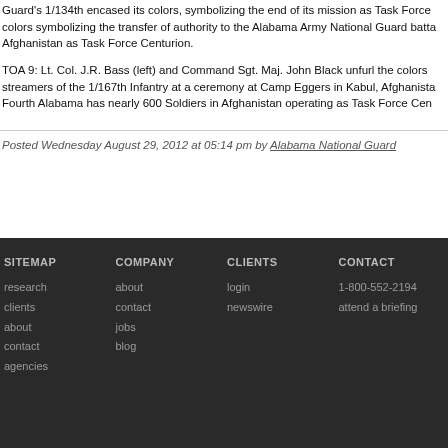Guard's 1/134th encased its colors, symbolizing the end of its mission as Task Force colors symbolizing the transfer of authority to the Alabama Army National Guard batta Afghanistan as Task Force Centurion.
TOA 9: Lt. Col. J.R. Bass (left) and Command Sgt. Maj. John Black unfurl the colors streamers of the 1/167th Infantry at a ceremony at Camp Eggers in Kabul, Afghanista Fourth Alabama has nearly 600 Soldiers in Afghanistan operating as Task Force Cen
Posted Wednesday August 29, 2012 at 05:14 pm by Alabama National Guard
SITEMAP | COMPANY | CLIENTS | CONTACT
research, clients, about, contact, agencies | about, contact, jobs, blog | login, newswire | 1-800-552-2194, attend a briefing